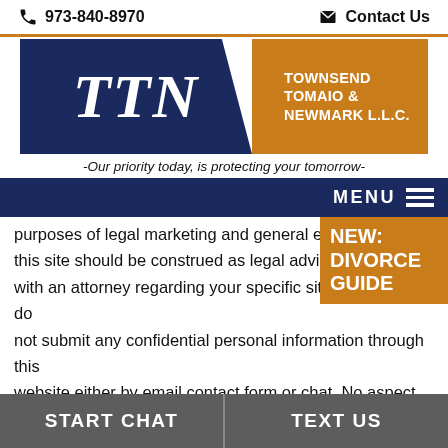973-840-8970  Contact Us
[Figure (logo): TTN Townsend Tomaio & Newmark L.L.C. law firm logo with navy and orange design]
-Our priority today, is protecting your tomorrow-
MENU
NEW: DIVORCE GUIDE
purposes of legal marketing and general education this site should be construed as legal advice. Please with an attorney regarding your specific situation. Please do not submit any confidential personal information through this website either by email contact form or chat. No aspect of this advertisement has been approved by the Supreme Court of New Jersey. We welcome your inquiries and offer free
START CHAT   TEXT US